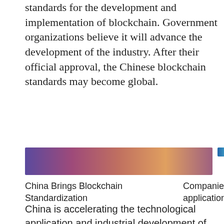standards for the development and implementation of blockchain. Government organizations believe it will advance the development of the industry. After their official approval, the Chinese blockchain standards may become global.
[Figure (photo): Wide horizontal photo with purple and pink nebula-like colors, representing blockchain or technology theme.]
[Figure (photo): Small horizontal image strip with blue/teal tones, partially visible.]
China Brings Blockchain Standardization
Companies application
China is accelerating the technological application and industrial development of blockchain. Its current five-year development plan sets goals for the advancement of